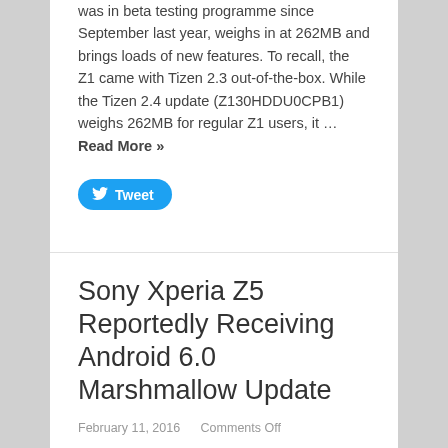was in beta testing programme since September last year, weighs in at 262MB and brings loads of new features. To recall, the Z1 came with Tizen 2.3 out-of-the-box. While the Tizen 2.4 update (Z130HDDU0CPB1) weighs 262MB for regular Z1 users, it … Read More »
[Figure (other): Twitter Tweet button (blue rounded rectangle with bird icon and 'Tweet' text)]
Sony Xperia Z5 Reportedly Receiving Android 6.0 Marshmallow Update
February 11, 2016   Comments Off
Sony has reportedly started seeding the Android 6.0 Marshmallow update to its latest flagship model, the Xperia Z5 smartphone. To recall, the handset